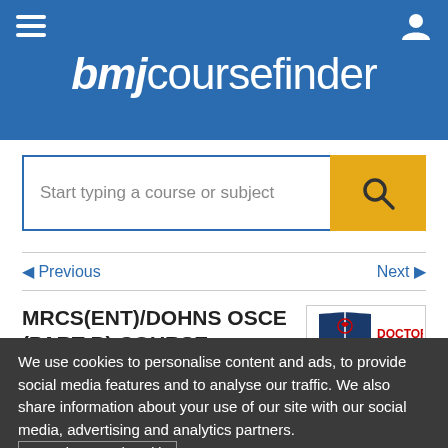bmjcoursefinder
Start typing a course or subject
◄ Previous    Next ►
MRCS(ENT)/DOHNS OSCE (PART B) COURSE (ONLINE)
Provided by Doctors Academy
[Figure (logo): Doctors Academy logo with shield emblem and text 'Doctors Academy, Better Education. Better Health.']
We use cookies to personalise content and ads, to provide social media features and to analyse our traffic. We also share information about your use of our site with our social media, advertising and analytics partners. Our privacy and cookie